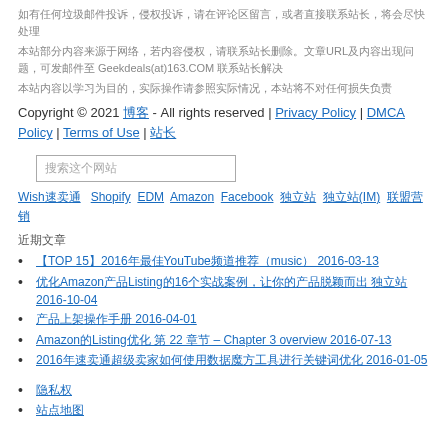如有任何垃圾邮件投诉，侵权投诉，请在评论区留言，或者直接联系站长，将会尽快处理
本站部分内容来源于网络，若内容侵权，请联系站长删除。文章URL及内容出现问题，可发邮件至 Geekdeals(at)163.COM 联系站长解决
本站内容以学习为目的，实际操作请参照实际情况，本站将不对任何损失负责
Copyright © 2021 博客 - All rights reserved | Privacy Policy | DMCA Policy | Terms of Use | 站长
搜索这个网站
Wish速卖通  Shopify EDM Amazon Facebook 独立站 独立站(IM) 联盟营销
近期文章
【TOP 15】2016年最佳YouTube频道推荐（music） 2016-03-13
优化Amazon产品Listing的16个实战案例，让你的产品脱颖而出 独立站 2016-10-04
产品上架操作手册 2016-04-01
Amazon的Listing优化 第 22 章节 – Chapter 3 overview 2016-07-13
2016年速卖通超级卖家如何使用数据魔方工具进行关键词优化 2016-01-05
隐私权
站点地图